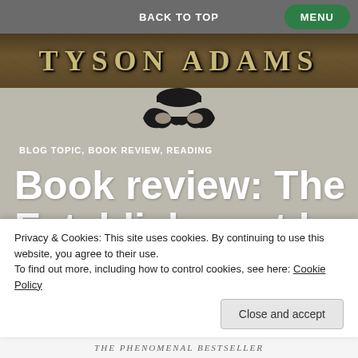BACK TO TOP
MENU
[Figure (illustration): Tyson Adams website banner with cracked earth/stone texture background and stylized serif text reading TYSON ADAMS]
[Figure (illustration): Black masquerade mask icon centered below banner]
BLOG TOPIC, BOOK REVIEW, READING
Book review: The Establishment by Owen Jones
[Figure (illustration): Book cover of The Establishment by Owen Jones showing large serif text]
Privacy & Cookies: This site uses cookies. By continuing to use this website, you agree to their use.
To find out more, including how to control cookies, see here: Cookie Policy
Close and accept
THE PHENOMENAL BESTSELLER